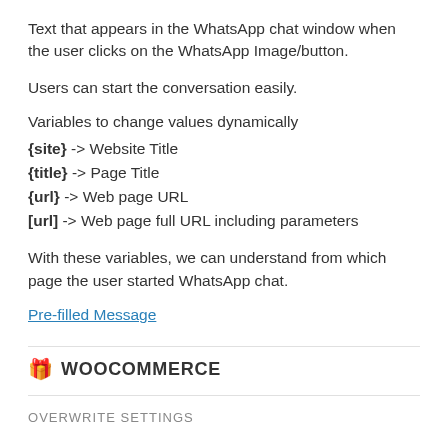Text that appears in the WhatsApp chat window when the user clicks on the WhatsApp Image/button.
Users can start the conversation easily.
Variables to change values dynamically
{site} -> Website Title
{title} -> Page Title
{url} -> Web page URL
[url] -> Web page full URL including parameters
With these variables, we can understand from which page the user started WhatsApp chat.
Pre-filled Message
WOOCOMMERCE
OVERWRITE SETTINGS